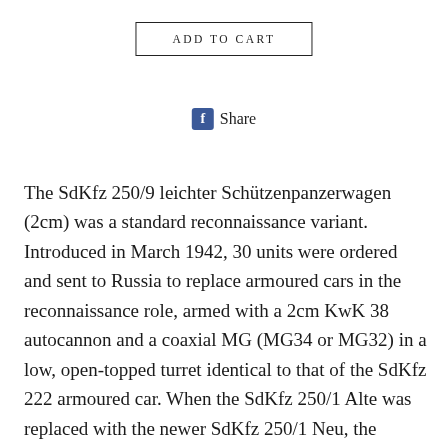ADD TO CART
Share
The SdKfz 250/9 leichter Schützenpanzerwagen (2cm) was a standard reconnaissance variant. Introduced in March 1942, 30 units were ordered and sent to Russia to replace armoured cars in the reconnaissance role, armed with a 2cm KwK 38 autocannon and a coaxial MG (MG34 or MG32) in a low, open-topped turret identical to that of the SdKfz 222 armoured car. When the SdKfz 250/1 Alte was replaced with the newer SdKfz 250/1 Neu, the SdKfz 250/9 received a Hängelafette 38 and